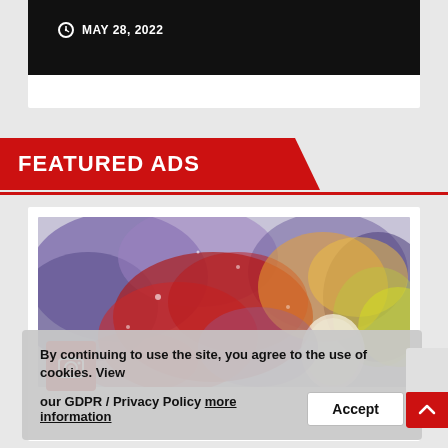MAY 28, 2022
FEATURED ADS
[Figure (photo): Colorful watercolor painting with swirls of purple, red, orange, yellow and blue, resembling a cosmic or abstract nebula scene. A red camera badge icon is overlaid in the bottom-left corner.]
ADVERTISEMENT FEATURE
Whose Child…
By continuing to use the site, you agree to the use of cookies. View our GDPR / Privacy Policy more information